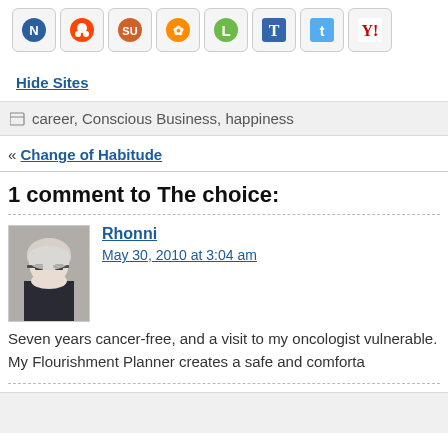[Figure (other): Row of social sharing icon buttons: Netvibes, Reddit, StumbleUpon, Delicious/Google, Instapaper/Read It Later, Tumblr, Twitter, Yahoo]
Hide Sites
career, Conscious Business, happiness
« Change of Habitude
1 comment to The choice:
[Figure (photo): Avatar photo of Rhonni - a woman with light gray/white hair and glasses]
Rhonni
May 30, 2010 at 3:04 am
Seven years cancer-free, and a visit to my oncologist vulnerable. My Flourishment Planner creates a safe and comforta